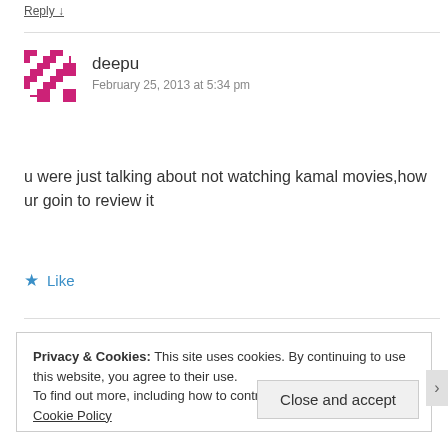Reply ↓
deepu
February 25, 2013 at 5:34 pm
u were just talking about not watching kamal movies,how ur goin to review it
Like
Privacy & Cookies: This site uses cookies. By continuing to use this website, you agree to their use.
To find out more, including how to control cookies, see here: Cookie Policy
Close and accept